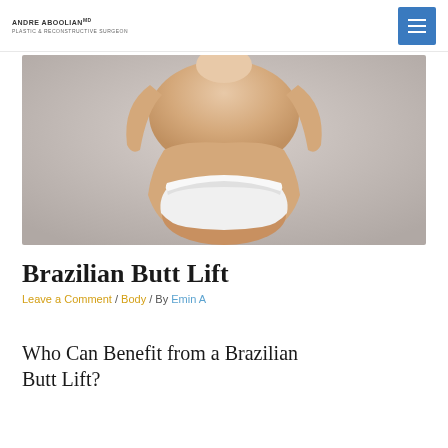ANDRE ABOOLIAN
[Figure (photo): Back view of a woman in white underwear, plastic surgery before/after style photo on grey background]
Brazilian Butt Lift
Leave a Comment / Body / By Emin A
Who Can Benefit from a Brazilian Butt Lift?